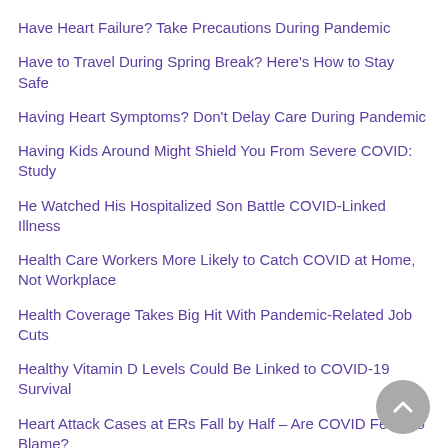Have Heart Failure? Take Precautions During Pandemic
Have to Travel During Spring Break? Here's How to Stay Safe
Having Heart Symptoms? Don't Delay Care During Pandemic
Having Kids Around Might Shield You From Severe COVID: Study
He Watched His Hospitalized Son Battle COVID-Linked Illness
Health Care Workers More Likely to Catch COVID at Home, Not Workplace
Health Coverage Takes Big Hit With Pandemic-Related Job Cuts
Healthy Vitamin D Levels Could Be Linked to COVID-19 Survival
Heart Attack Cases at ERs Fall by Half &ndash; Are COVID Fears to Blame?